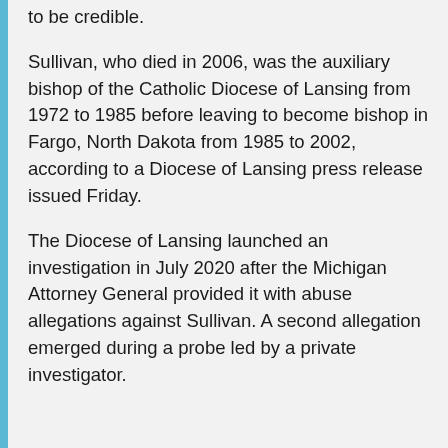to be credible.
Sullivan, who died in 2006, was the auxiliary bishop of the Catholic Diocese of Lansing from 1972 to 1985 before leaving to become bishop in Fargo, North Dakota from 1985 to 2002, according to a Diocese of Lansing press release issued Friday.
The Diocese of Lansing launched an investigation in July 2020 after the Michigan Attorney General provided it with abuse allegations against Sullivan. A second allegation emerged during a probe led by a private investigator.